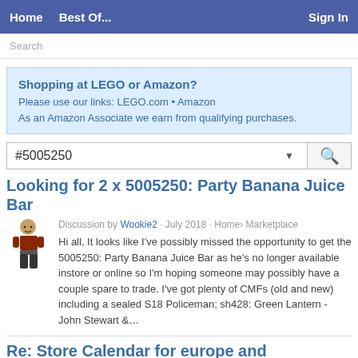Home   Best Of...   Sign In
Search
Shopping at LEGO or Amazon?
Please use our links: LEGO.com • Amazon
As an Amazon Associate we earn from qualifying purchases.
#5005250
Looking for 2 x 5005250: Party Banana Juice Bar
Discussion by Wookie2 · July 2018 · Home › Marketplace
Hi all, It looks like I've possibly missed the opportunity to get the 5005250: Party Banana Juice Bar as he's no longer available instore or online so I'm hoping someone may possibly have a couple spare to trade. I've got plenty of CMFs (old and new) including a sealed S18 Policeman; sh428: Green Lantern - John Stewart &…
Re: Store Calendar for europe and promotions on new lego S@H